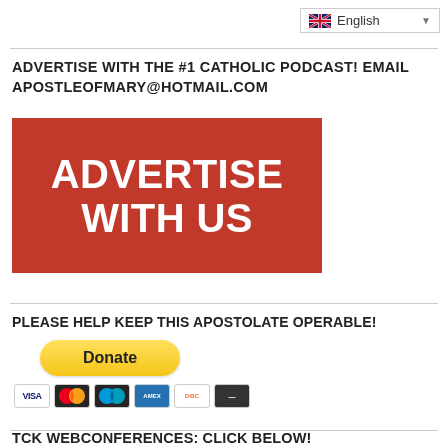English
ADVERTISE WITH THE #1 CATHOLIC PODCAST! EMAIL APOSTLEOFMARY@HOTMAIL.COM
[Figure (illustration): Red banner with white bold text reading ADVERTISE WITH US]
PLEASE HELP KEEP THIS APOSTOLATE OPERABLE!
[Figure (infographic): Yellow PayPal Donate button followed by payment card icons: VISA, Mastercard, Maestro, American Express, Discover, and another card]
TCK WEBCONFERENCES: CLICK BELOW!